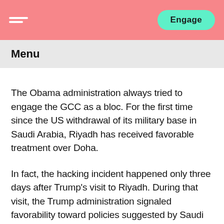Engage
Menu
The Obama administration always tried to engage the GCC as a bloc. For the first time since the US withdrawal of its military base in Saudi Arabia, Riyadh has received favorable treatment over Doha.
In fact, the hacking incident happened only three days after Trump's visit to Riyadh. During that visit, the Trump administration signaled favorability toward policies suggested by Saudi Arabia and the UAE.